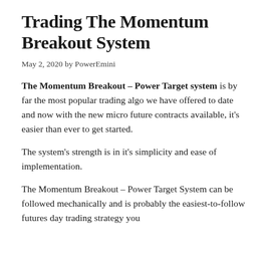Trading The Momentum Breakout System
May 2, 2020 by PowerEmini
The Momentum Breakout – Power Target system is by far the most popular trading algo we have offered to date and now with the new micro future contracts available, it's easier than ever to get started.
The system's strength is in it's simplicity and ease of implementation.
The Momentum Breakout – Power Target System can be followed mechanically and is probably the easiest-to-follow futures day trading strategy you